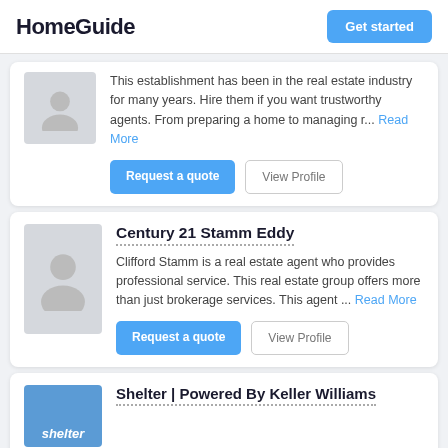HomeGuide | Get started
This establishment has been in the real estate industry for many years. Hire them if you want trustworthy agents. From preparing a home to managing r... Read More
Request a quote | View Profile
Century 21 Stamm Eddy
Clifford Stamm is a real estate agent who provides professional service. This real estate group offers more than just brokerage services. This agent ... Read More
Request a quote | View Profile
Shelter | Powered By Keller Williams